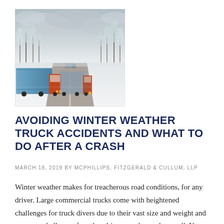[Figure (photo): A row of large commercial trucks driving on a snow-covered highway in winter conditions, with snow-laden trees lining both sides of the road and an overcast sky above.]
AVOIDING WINTER WEATHER TRUCK ACCIDENTS AND WHAT TO DO AFTER A CRASH
MARCH 18, 2019 BY MCPHILLIPS, FITZGERALD & CULLUM, LLP
Winter weather makes for treacherous road conditions, for any driver. Large commercial trucks come with heightened challenges for truck divers due to their vast size and weight and can pose challenges for other drivers on the road, as well. You may find